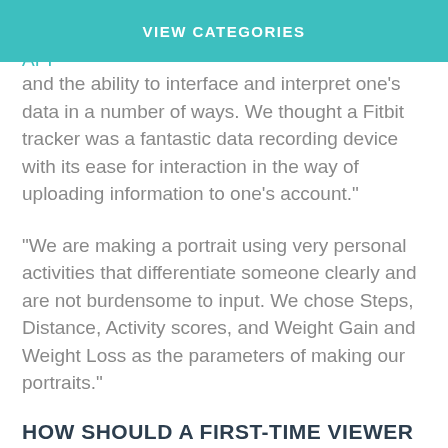VIEW CATEGORIES
“One of the great things about Fitbit is its open API and the ability to interface and interpret one’s data in a number of ways. We thought a Fitbit tracker was a fantastic data recording device with its ease for interaction in the way of uploading information to one’s account.”
“We are making a portrait using very personal activities that differentiate someone clearly and are not burdensome to input. We chose Steps, Distance, Activity scores, and Weight Gain and Weight Loss as the parameters of making our portraits.”
HOW SHOULD A FIRST-TIME VIEWER INTERPRET I•AM•I?
“The subjects of I•AM•I become familiar with and easily learn to read and recognize the patterns and